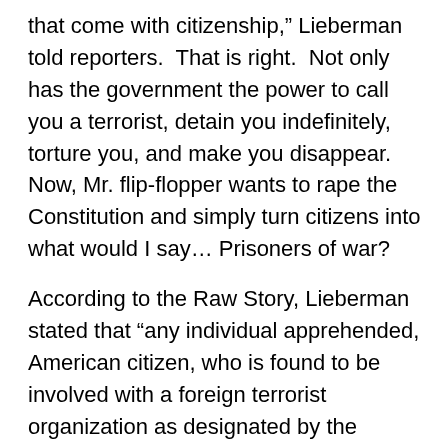that come with citizenship,” Lieberman told reporters.  That is right.  Not only has the government the power to call you a terrorist, detain you indefinitely, torture you, and make you disappear.  Now, Mr. flip-flopper wants to rape the Constitution and simply turn citizens into what would I say… Prisoners of war?
According to the Raw Story, Lieberman stated that “any individual apprehended, American citizen, who is found to be involved with a foreign terrorist organization as designated by the Department of State, would be deprived of their citizenship rights.”  Again, who has the power to designate a citizen a terrorist?  That is right, the government.  Do you see where my concern comes from?  “If you have joined an enemy of the United States in attacking the United States to try to kill Americans I think